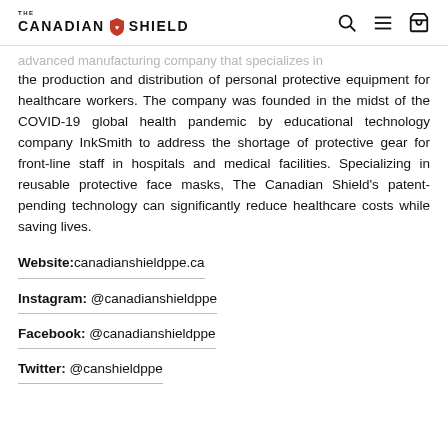THE CANADIAN SHIELD [logo with search, menu, cart icons]
...advanced manufacturing company that specializes in the production and distribution of personal protective equipment for healthcare workers. The company was founded in the midst of the COVID-19 global health pandemic by educational technology company InkSmith to address the shortage of protective gear for front-line staff in hospitals and medical facilities. Specializing in reusable protective face masks, The Canadian Shield's patent-pending technology can significantly reduce healthcare costs while saving lives.
Website: canadianshieldppe.ca
Instagram: @canadianshieldppe
Facebook: @canadianshieldppe
Twitter: @canshieldppe